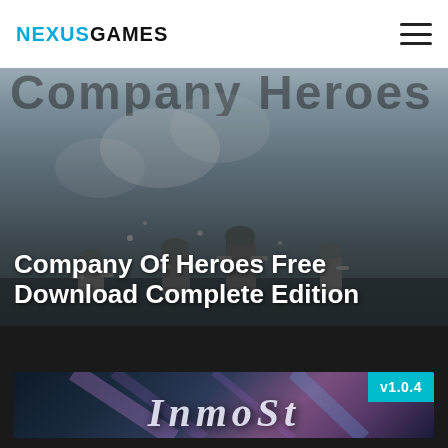NEXUSGAMES
Company Of Heroes Free Download Complete Edition
[Figure (screenshot): Game banner for Company of Heroes showing soldiers silhouettes in a grey/brown battle scene with title overlay]
[Figure (screenshot): Game card for INMOST with version badge v1.0.4, showing fantasy art with blue/purple tones and large INMOST text]